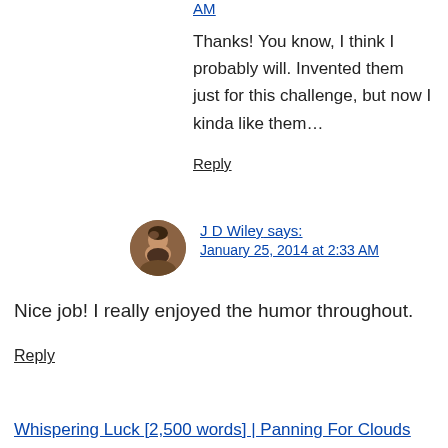AM
Thanks! You know, I think I probably will. Invented them just for this challenge, but now I kinda like them…
Reply
J D Wiley says: January 25, 2014 at 2:33 AM
Nice job! I really enjoyed the humor throughout.
Reply
Whispering Luck [2,500 words] | Panning For Clouds